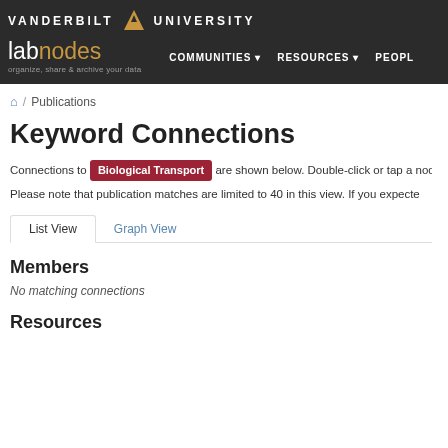VANDERBILT V UNIVERSITY - labnodes - organize, share & archive your data - COMMUNITIES - RESOURCES - PEOPLE
/ Publications
Keyword Connections
Connections to Biological Transport are shown below. Double-click or tap a node
Please note that publication matches are limited to 40 in this view. If you expecte
List View   Graph View
Members
No matching connections
Resources